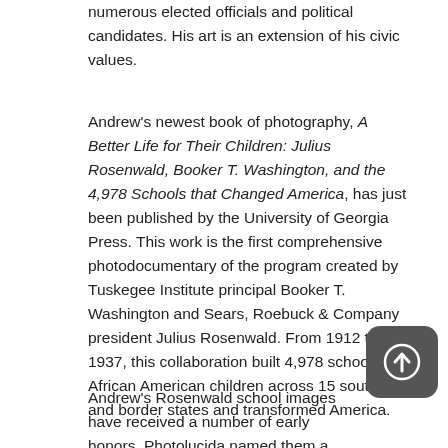numerous elected officials and political candidates. His art is an extension of his civic values.
Andrew's newest book of photography, A Better Life for Their Children: Julius Rosenwald, Booker T. Washington, and the 4,978 Schools that Changed America, has just been published by the University of Georgia Press. This work is the first comprehensive photodocumentary of the program created by Tuskegee Institute principal Booker T. Washington and Sears, Roebuck & Company president Julius Rosenwald. From 1912 to 1937, this collaboration built 4,978 schools for African American children across 15 southern and border states and transformed America.
Andrew's Rosenwald school images have received a number of early honors. Photolucida named them a 2020 Top 50 portfolio and Photoville selected them for The...